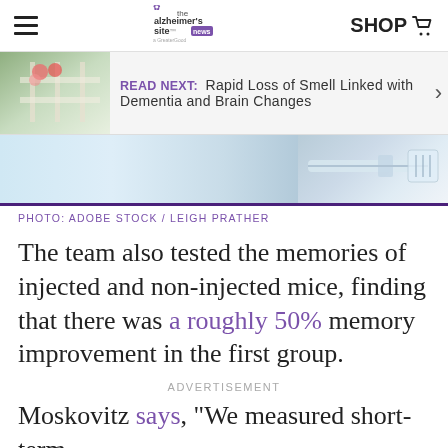the alzheimer's site news | SHOP
READ NEXT: Rapid Loss of Smell Linked with Dementia and Brain Changes
[Figure (photo): Photo strip showing a blurred medical/injection scene on right side and light blue background]
PHOTO: ADOBE STOCK / LEIGH PRATHER
The team also tested the memories of injected and non-injected mice, finding that there was a roughly 50% memory improvement in the first group.
ADVERTISEMENT
Moskovitz says, "We measured short-term